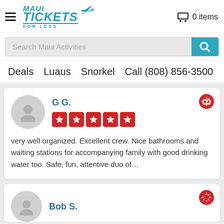Maui Tickets For Less — 0 items
Search Maui Activities
Deals   Luaus   Snorkel   Call (808) 856-3500
G G. — 5 stars — very well organized. Excellent crew. Nice bathrooms and waiting stations for accompanying family with good drinking water too. Safe, fun, attentive duo of…
Bob S.